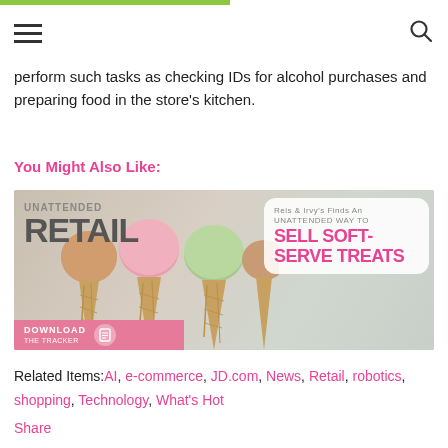perform such tasks as checking IDs for alcohol purchases and preparing food in the store's kitchen.
You Might Also Like:
[Figure (infographic): Unattended Retail promotional banner with ice cream cones. Left side reads 'UNATTENDED RETAIL'. Right speech bubble reads 'Reis & Irvy's Finds An UNATTENDED WAY TO SELL SOFT-SERVE TREATS'. Bottom left has a pink 'DOWNLOAD THE TRACKER' button with an icon.]
Related Items: AI, e-commerce, JD.com, News, Retail, robotics, shopping, Technology, What's Hot
Share